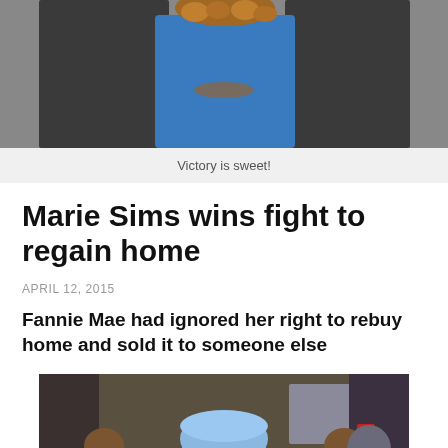[Figure (photo): Top portion of a photo showing two people in dark jackets and a blue shirt, cropped at the top of page]
Victory is sweet!
Marie Sims wins fight to regain home
APRIL 12, 2015
Fannie Mae had ignored her right to rebuy home and sold it to someone else
[Figure (photo): Woman smiling with both fists raised in victory pose, wearing a blue knit hat and blue shirt with dreadlocks, celebrating, indoors]